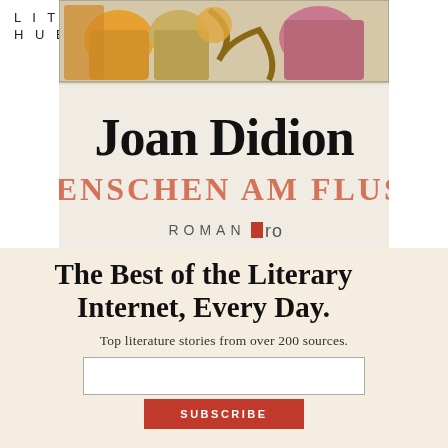LIT
HUB
[Figure (illustration): Book cover of 'Menschen am Fluss' by Joan Didion. Top portion shows illustrated figures in warm colors. Large black serif text reads 'Joan Didion', below that in salmon/red uppercase letters 'MENSCHEN AM FLUSS', then 'ROMAN' with a small red square and 'ro' logo.]
The Best of the Literary Internet, Every Day.
Top literature stories from over 200 sources.
[Figure (other): Email input text field and Subscribe button]
[Figure (other): Close/X button circle icon]